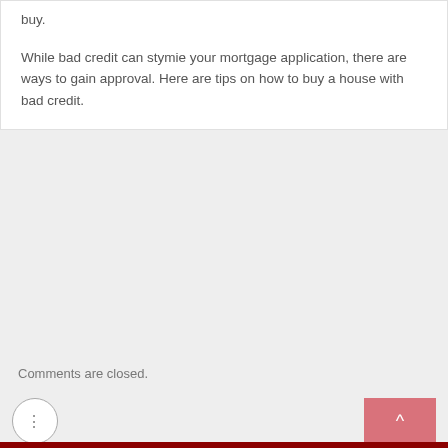buy.
While bad credit can stymie your mortgage application, there are ways to gain approval. Here are tips on how to buy a house with bad credit.
Comments are closed.